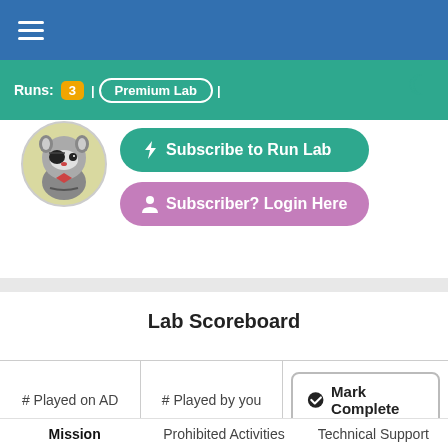≡ (hamburger menu)
Runs: 3 | Premium Lab |
[Figure (other): Loading spinner (crescent/C shape) in teal color]
[Figure (illustration): Cartoon raccoon avatar with pirate eye patch, circular yellow-green background]
⚡ Subscribe to Run Lab
👤 Subscriber? Login Here
Lab Scoreboard
| # Played on AD | # Played by you | Mark Complete |
| --- | --- | --- |
Mission | Prohibited Activities | Technical Support